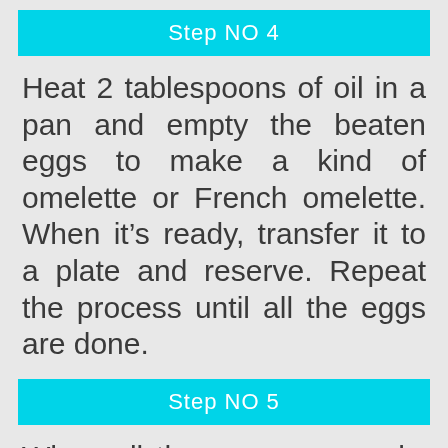Step NO 4
Heat 2 tablespoons of oil in a pan and empty the beaten eggs to make a kind of omelette or French omelette. When it’s ready, transfer it to a plate and reserve. Repeat the process until all the eggs are done.
Step NO 5
When all the eggs are ready, add them to the sauce pot and cook all together for 2